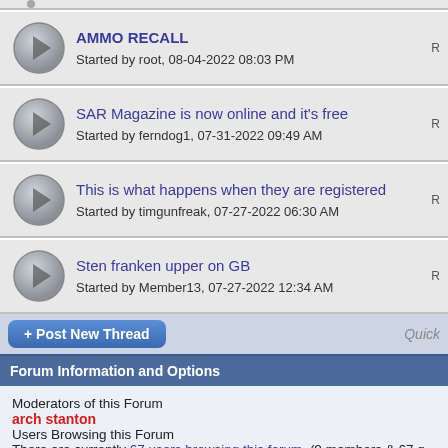AMMO RECALL
Started by root, 08-04-2022 08:03 PM
SAR Magazine is now online and it's free
Started by ferndog1, 07-31-2022 09:49 AM
This is what happens when they are registered
Started by timgunfreak, 07-27-2022 06:30 AM
Sten franken upper on GB
Started by Member13, 07-27-2022 12:34 AM
+ Post New Thread
Quick
Forum Information and Options
Moderators of this Forum
arch stanton
Users Browsing this Forum
There are currently 67 users browsing this forum. (0 members & 67 g
Thread Display Options